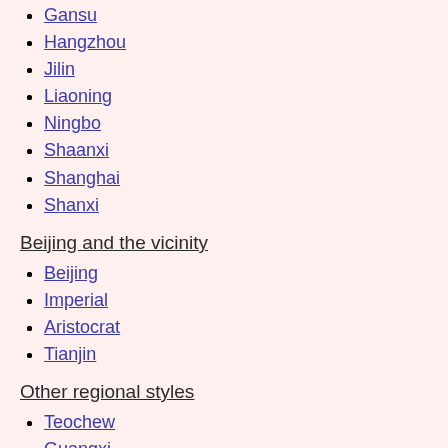Gansu
Hangzhou
Jilin
Liaoning
Ningbo
Shaanxi
Shanghai
Shanxi
Beijing and the vicinity
Beijing
Imperial
Aristocrat
Tianjin
Other regional styles
Teochew
Guangxi
Guizhou
Hainan
Haipai
Hakka
Hong Kong
Jiangxi